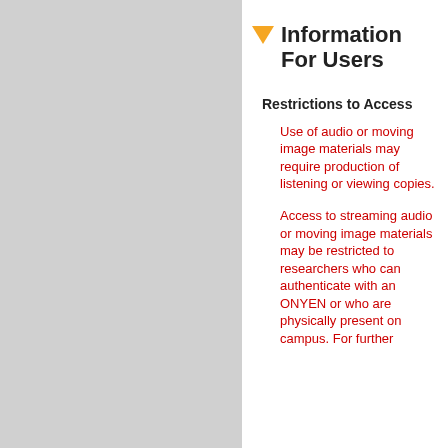Information For Users
Restrictions to Access
Use of audio or moving image materials may require production of listening or viewing copies.
Access to streaming audio or moving image materials may be restricted to researchers who can authenticate with an ONYEN or who are physically present on campus. For further